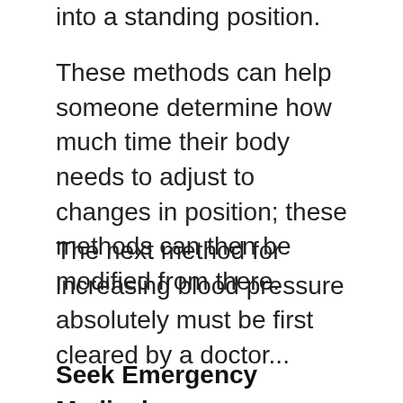into a standing position.
These methods can help someone determine how much time their body needs to adjust to changes in position; these methods can then be modified from there.
The next method for increasing blood pressure absolutely must be first cleared by a doctor...
Seek Emergency Medical